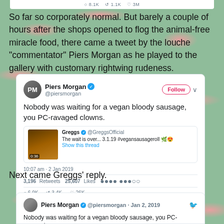[Figure (screenshot): Partial top of a tweet card showing engagement icons and counts (8.1K, 1.1K, 3M)]
So far so corporately normal. But barely a couple of hours after the shops opened to flog the animal-free miracle food, there came a tweet by the louche "commentator" Piers Morgan as he played to the gallery with customary rightwing rudeness.
[Figure (screenshot): Tweet by Piers Morgan @piersmorgan saying 'Nobody was waiting for a vegan bloody sausage, you PC-ravaged clowns.' with a quoted Greggs @GreggsOfficial tweet 'The wait is over... 3.1.19 #vegansausageroll 🌿😍 Show this thread'. Timestamp: 10:07 am · 2 Jan 2019. Stats: 3,196 Retweets, 25,607 Likes. Actions: 6.9K replies, 3.4K retweets, 26K likes.]
Next came Greggs' reply.
[Figure (screenshot): Partial bottom tweet card showing Piers Morgan @piersmorgan · Jan 2, 2019 with Twitter bird icon and beginning of tweet text 'Nobody was waiting for a vegan bloody sausage, you PC-ravaged']